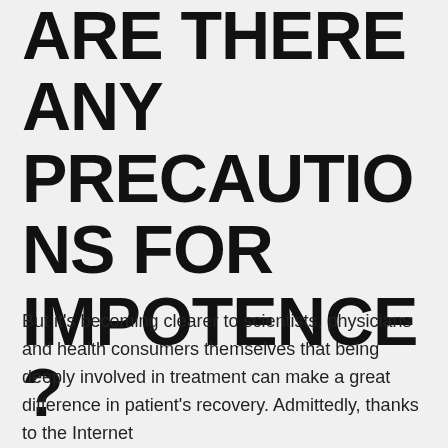ARE THERE ANY PRECAUTIONS FOR IMPOTENCE?
But it's becoming clearer to scientists, physicians and health consumers themselves that being deeply involved in treatment can make a great difference in patient's recovery. Admittedly, thanks to the Internet